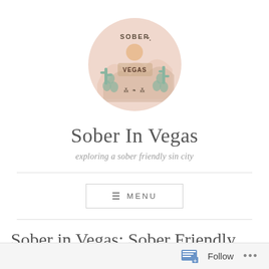[Figure (logo): Circular logo with pink/peach background featuring illustrated desert scene with cacti, mountains, sun, and text reading 'SOBER in VEGAS']
Sober In Vegas
exploring a sober friendly sin city
≡ MENU
Sober in Vegas: Sober Friendly...